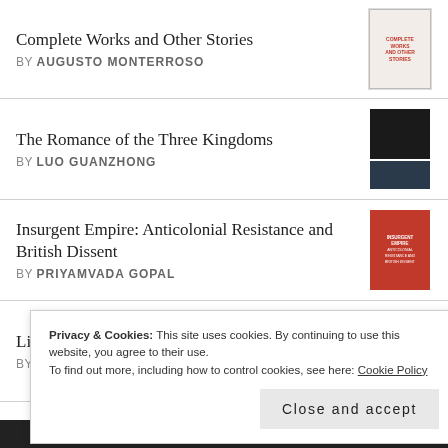Complete Works and Other Stories BY AUGUSTO MONTERROSO
The Romance of the Three Kingdoms BY LUO GUANZHONG
Insurgent Empire: Anticolonial Resistance and British Dissent BY PRIYAMVADA GOPAL
Lilith's Brood BY OCTAVIA E. BUTLER
Privacy & Cookies: This site uses cookies. By continuing to use this website, you agree to their use. To find out more, including how to control cookies, see here: Cookie Policy
Close and accept